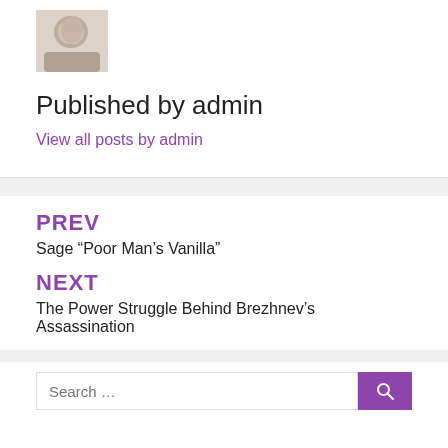[Figure (photo): Small avatar photo of a person, partially cropped, showing face]
Published by admin
View all posts by admin
PREV
Sage “Poor Man’s Vanilla”
NEXT
The Power Struggle Behind Brezhnev’s Assassination
Search …